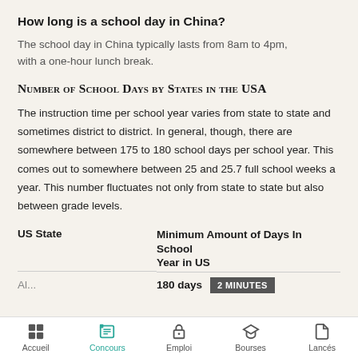How long is a school day in China?
The school day in China typically lasts from 8am to 4pm, with a one-hour lunch break.
Number of School Days by States in the USA
The instruction time per school year varies from state to state and sometimes district to district. In general, though, there are somewhere between 175 to 180 school days per school year. This comes out to somewhere between 25 and 25.7 full school weeks a year. This number fluctuates not only from state to state but also between grade levels.
| US State | Minimum Amount of Days In School Year in US |
| --- | --- |
| Al... | 180 days |
Accueil | Concours | Emploi | Bourses | Lancés